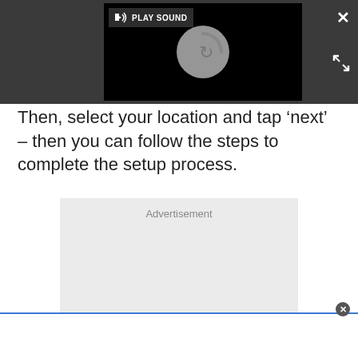[Figure (screenshot): Video player embedded in dark grey overlay bar. Shows a black video area with a loading spinner (grey circle with curved arrow). A 'PLAY SOUND' button with speaker icon is in the top-left of the video. An X close button and expand arrows icon appear on the right side of the overlay bar.]
Then, select your location and tap ‘next’ – then you can follow the steps to complete the setup process.
Advertisement